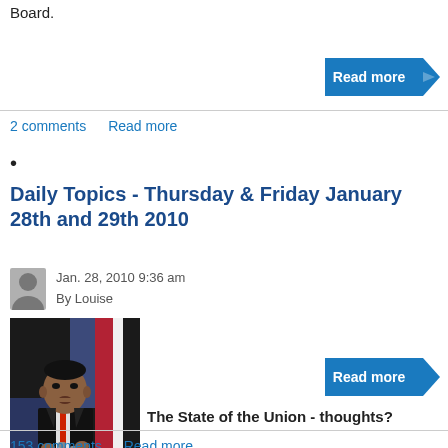Board.
[Figure (other): Blue arrow-shaped 'Read more' button]
2 comments   Read more
•
Daily Topics - Thursday & Friday January 28th and 29th 2010
Jan. 28, 2010 9:36 am
By Louise
[Figure (photo): Photo of Barack Obama speaking at a podium with an American flag in the background]
The State of the Union - thoughts?
[Figure (other): Blue arrow-shaped 'Read more' button]
153 comments   Read more